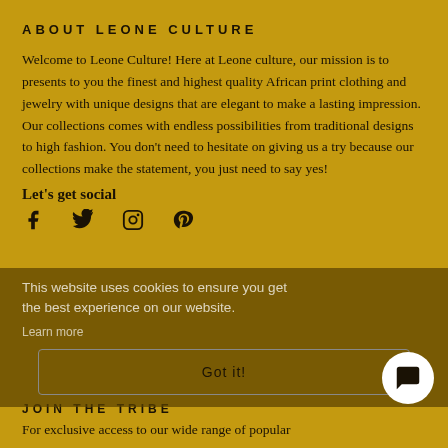ABOUT LEONE CULTURE
Welcome to Leone Culture! Here at Leone culture, our mission is to presents to you the finest and highest quality African print clothing and jewelry with unique designs that are elegant to make a lasting impression. Our collections comes with endless possibilities from traditional designs to high fashion. You don't need to hesitate on giving us a try because our collections make the statement, you just need to say yes!
Let's get social
[Figure (infographic): Social media icons: Facebook, Twitter, Instagram, Pinterest]
This website uses cookies to ensure you get the best experience on our website. Learn more
Got it!
JOIN THE TRIBE
For exclusive access to our wide range of popular